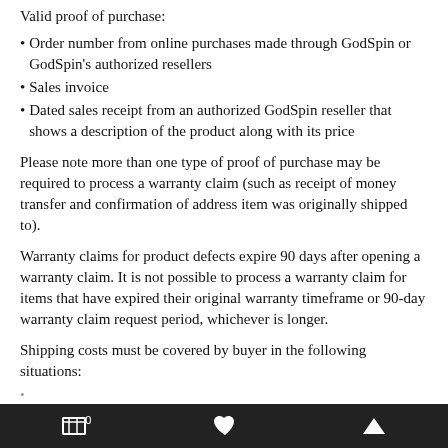Valid proof of purchase:
Order number from online purchases made through GodSpin or GodSpin's authorized resellers
Sales invoice
Dated sales receipt from an authorized GodSpin reseller that shows a description of the product along with its price
Please note more than one type of proof of purchase may be required to process a warranty claim (such as receipt of money transfer and confirmation of address item was originally shipped to).
Warranty claims for product defects expire 90 days after opening a warranty claim. It is not possible to process a warranty claim for items that have expired their original warranty timeframe or 90-day warranty claim request period, whichever is longer.
Shipping costs must be covered by buyer in the following situations:
0 ♥ ▲